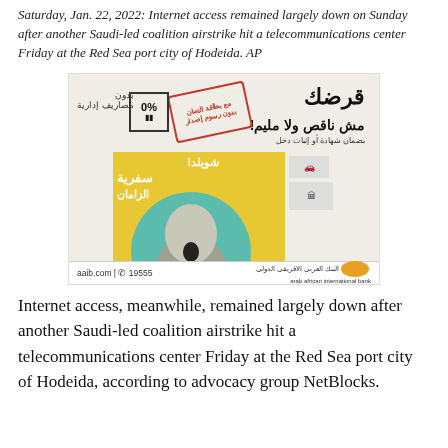Saturday, Jan. 22, 2022: Internet access remained largely down on Sunday after another Saudi-led coalition airstrike hit a telecommunications center Friday at the Red Sea port city of Hodeida. AP
[Figure (illustration): Advertisement for Arab African International Bank (aaib.com | 19555) featuring Arabic text about a loan product, a woman with an open mouth expression, yellow and teal design elements, car and building illustrations, and a 0% badge.]
Internet access, meanwhile, remained largely down after another Saudi-led coalition airstrike hit a telecommunications center Friday at the Red Sea port city of Hodeida, according to advocacy group NetBlocks.